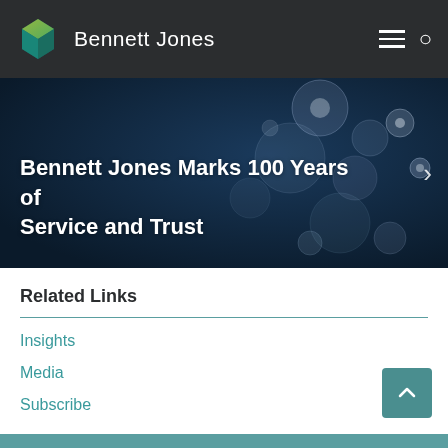Bennett Jones
[Figure (screenshot): Hero banner with bokeh blue background and text: Bennett Jones Marks 100 Years of Service and Trust]
Bennett Jones Marks 100 Years of Service and Trust
Related Links
Insights
Media
Subscribe